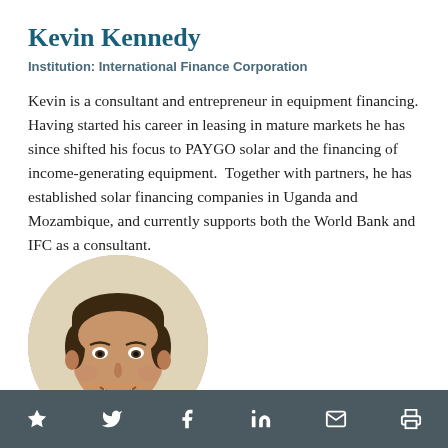Kevin Kennedy
Institution: International Finance Corporation
Kevin is a consultant and entrepreneur in equipment financing. Having started his career in leasing in mature markets he has since shifted his focus to PAYGO solar and the financing of income-generating equipment. Together with partners, he has established solar financing companies in Uganda and Mozambique, and currently supports both the World Bank and IFC as a consultant.
[Figure (photo): Circular headshot photo of Kevin Kennedy, a man with dark hair, smiling, wearing a light-colored top, against a light background.]
Social/action icons: star, Twitter, Facebook, LinkedIn, email, print